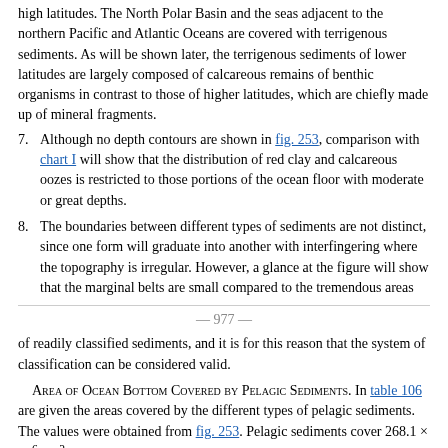high latitudes. The North Polar Basin and the seas adjacent to the northern Pacific and Atlantic Oceans are covered with terrigenous sediments. As will be shown later, the terrigenous sediments of lower latitudes are largely composed of calcareous remains of benthic organisms in contrast to those of higher latitudes, which are chiefly made up of mineral fragments.
7. Although no depth contours are shown in fig. 253, comparison with chart I will show that the distribution of red clay and calcareous oozes is restricted to those portions of the ocean floor with moderate or great depths.
8. The boundaries between different types of sediments are not distinct, since one form will graduate into another with interfingering where the topography is irregular. However, a glance at the figure will show that the marginal belts are small compared to the tremendous areas
— 977 —
of readily classified sediments, and it is for this reason that the system of classification can be considered valid.
Area of Ocean Bottom Covered by Pelagic Sediments. In table 106 are given the areas covered by the different types of pelagic sediments. The values were obtained from fig. 253. Pelagic sediments cover 268.1 × 10⁶ km² of the earth's surface, that is, 74.3 per cent of the sea bottom. The calcareous oozes (47.7 per cent), notably globigerina ooze, are the most extensive, with red clay (38.1 per cent) next in importance among the pelagic deposits. Siliceous oozes cover only 14.2 per cent of the total area.
Area Covered by Pelagic Sediments included in